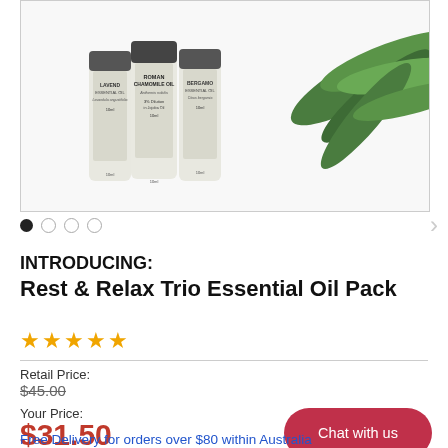[Figure (photo): Three small essential oil bottles (Lavender, Roman Chamomile, Bergamot) with green leaves on a white background]
INTRODUCING: Rest & Relax Trio Essential Oil Pack
★★★★★
Retail Price:
$45.00
Your Price:
$31.50
Chat with us
Free Delivery for orders over $80 within Australia